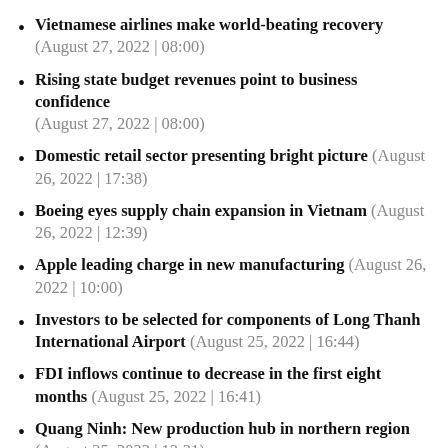Vietnamese airlines make world-beating recovery (August 27, 2022 | 08:00)
Rising state budget revenues point to business confidence (August 27, 2022 | 08:00)
Domestic retail sector presenting bright picture (August 26, 2022 | 17:38)
Boeing eyes supply chain expansion in Vietnam (August 26, 2022 | 12:39)
Apple leading charge in new manufacturing (August 26, 2022 | 10:00)
Investors to be selected for components of Long Thanh International Airport (August 25, 2022 | 16:44)
FDI inflows continue to decrease in the first eight months (August 25, 2022 | 16:41)
Quang Ninh: New production hub in northern region (August 25, 2022 | 13:21)